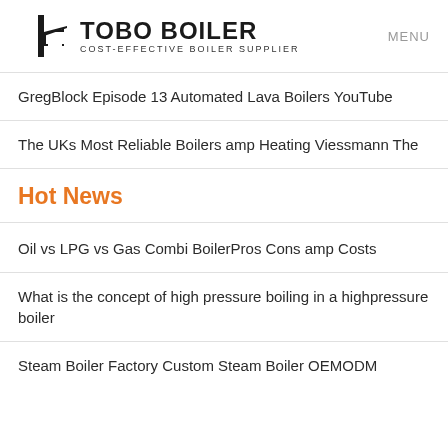TOBO BOILER — COST-EFFECTIVE BOILER SUPPLIER | MENU
GregBlock Episode 13 Automated Lava Boilers YouTube
The UKs Most Reliable Boilers amp Heating Viessmann The
Hot News
Oil vs LPG vs Gas Combi BoilerPros Cons amp Costs
What is the concept of high pressure boiling in a highpressure boiler
Steam Boiler Factory Custom Steam Boiler OEMODM